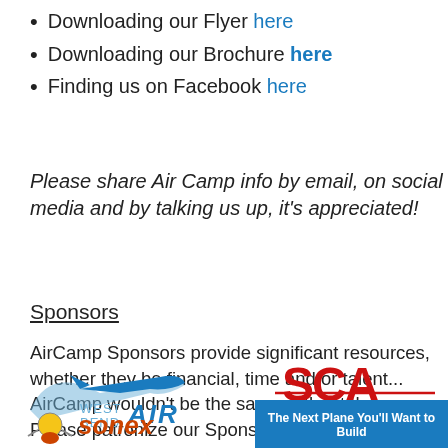Downloading our Flyer here
Downloading our Brochure here
Finding us on Facebook here
Please share Air Camp info by email, on social media and by talking us up, it's appreciated!
Sponsors
AirCamp Sponsors provide significant resources, whether they be financial, time and/or talent... AirCamp wouldn't be the same without them. Please patronize our Sponsors listed below:
[Figure (logo): West Bend Air logo with airplane silhouette and blue text]
[Figure (logo): SCA Spring City Aviation logo with red SCA letters and blue text]
[Figure (logo): Sonex logo with mascot figure]
[Figure (logo): Blue banner: The Next Plane You'll Want to Build]